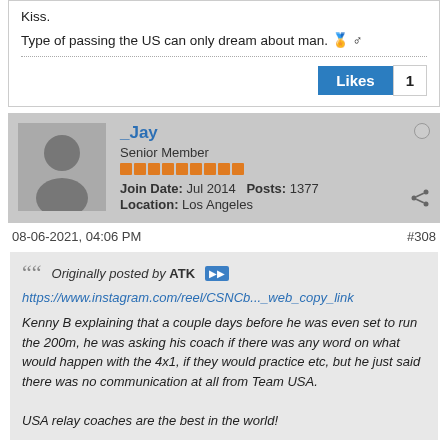Kiss.
Type of passing the US can only dream about man. 🏅♂
Likes 1
_Jay
Senior Member
Join Date: Jul 2014   Posts: 1377
Location: Los Angeles
08-06-2021, 04:06 PM
#308
Originally posted by ATK
https://www.instagram.com/reel/CSNCb..._web_copy_link
Kenny B explaining that a couple days before he was even set to run the 200m, he was asking his coach if there was any word on what would happen with the 4x1, if they would practice etc, but he just said there was no communication at all from Team USA.

USA relay coaches are the best in the world!